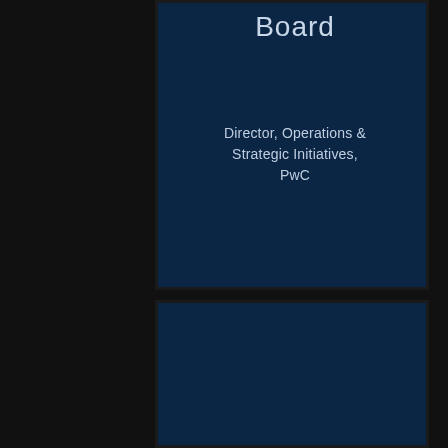Board
Director, Operations & Strategic Initiatives, PwC